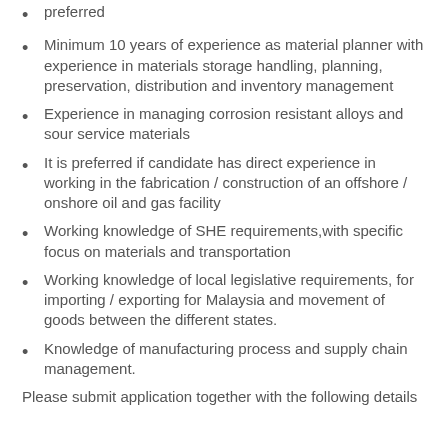preferred
Minimum 10 years of experience as material planner with experience in materials storage handling, planning, preservation, distribution and inventory management
Experience in managing corrosion resistant alloys and sour service materials
It is preferred if candidate has direct experience in working in the fabrication / construction of an offshore / onshore oil and gas facility
Working knowledge of SHE requirements,with specific focus on materials and transportation
Working knowledge of local legislative requirements, for importing / exporting for Malaysia and movement of goods between the different states.
Knowledge of manufacturing process and supply chain management.
Please submit application together with the following details